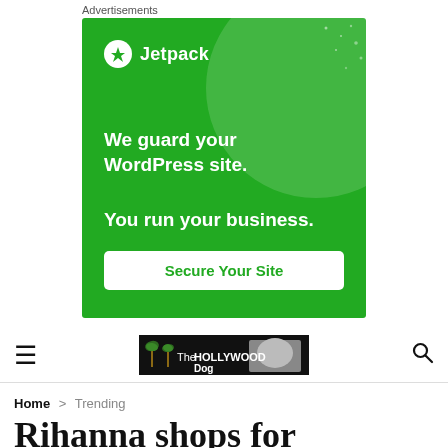Advertisements
[Figure (screenshot): Jetpack advertisement banner on green background. Text: 'We guard your WordPress site. You run your business.' with a 'Secure Your Site' button.]
[Figure (screenshot): Navigation bar with hamburger menu icon on left, The HOLLYWOOD Dog logo in center, and search icon on right.]
Home > Trending
Rihanna shops for designer baby clothes